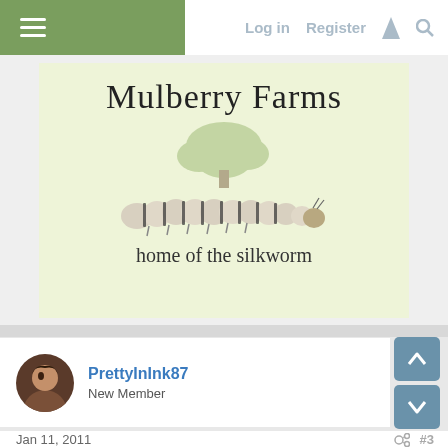Log in   Register
[Figure (logo): Mulberry Farms logo with tree illustration, silkworm image, and text 'home of the silkworm' on light yellow-green background]
PrettyInInk87
New Member
Jan 11, 2011   #3